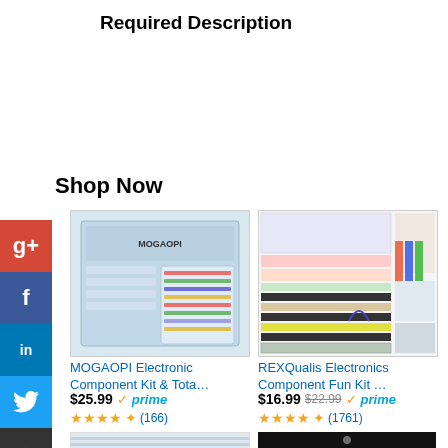Required Description
Shop Now
[Figure (photo): MOGAOPI electronic component kit product photo - clear plastic organizer box with components]
MOGAOPI Electronic Component Kit & Tota...
$25.99 prime (166 reviews, 4.5 stars)
[Figure (photo): REXQualis electronics component fun kit - breadboard, jumper wires, resistors laid out]
REXQualis Electronics Component Fun Kit ...
$16.99 $22.99 prime (1761 reviews, 4.5 stars)
[Figure (photo): Partial view of another electronics kit product]
[Figure (photo): Partial view of another product with dark background]